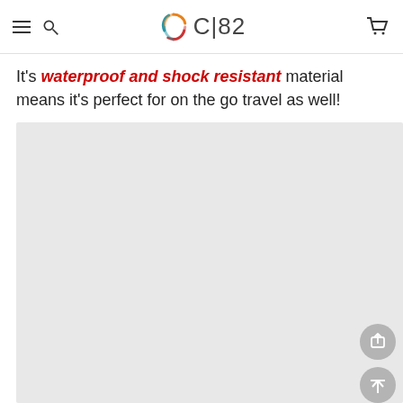CI82 (with logo)
It's waterproof and shock resistant material means it's perfect for on the go travel as well!
[Figure (other): Large light gray placeholder image area occupying the lower portion of the page, with a circular share button and a circular back-to-top button on the right side]